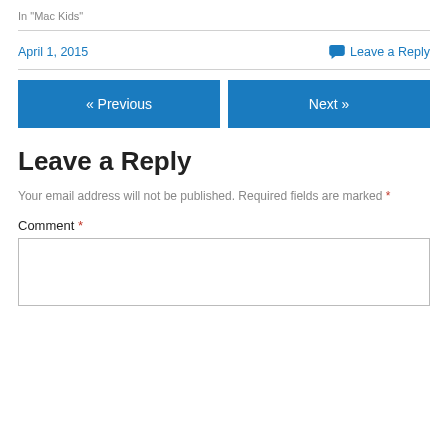In "Mac Kids"
April 1, 2015
Leave a Reply
« Previous
Next »
Leave a Reply
Your email address will not be published. Required fields are marked *
Comment *